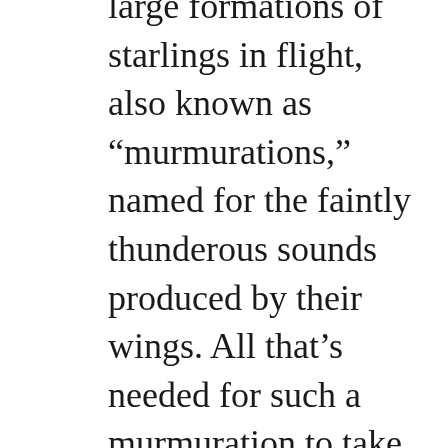large formations of starlings in flight, also known as “murmurations,” named for the faintly thunderous sounds produced by their wings. All that’s needed for such a murmuration to take place is the arrival nearby of some fearsome predator, such as a hawk or falcon, and thousands of panicky birds glom on to each other and take off together: safety here lies, indeed, in numbers. The algorithms of such flock behavior have long fascinated scientists: while there is no central control, no obvious command center, each bird, by following a simple set of instructions, contributes f